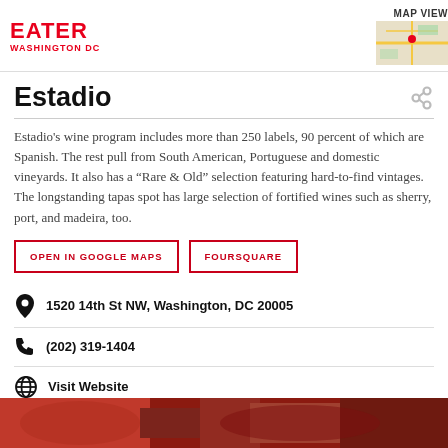EATER WASHINGTON DC
Estadio
Estadio's wine program includes more than 250 labels, 90 percent of which are Spanish. The rest pull from South American, Portuguese and domestic vineyards. It also has a “Rare & Old” selection featuring hard-to-find vintages. The longstanding tapas spot has large selection of fortified wines such as sherry, port, and madeira, too.
OPEN IN GOOGLE MAPS
FOURSQUARE
1520 14th St NW, Washington, DC 20005
(202) 319-1404
Visit Website
[Figure (photo): Bottom strip showing a dark reddish-orange photo, likely food or restaurant interior]